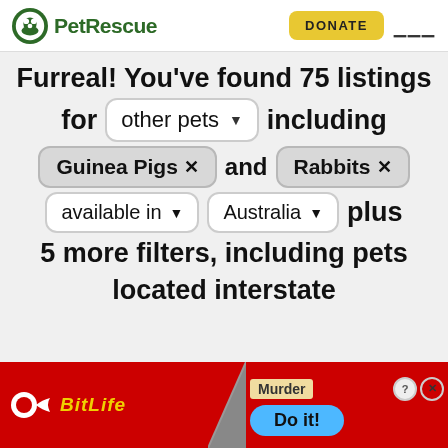PetRescue | DONATE
Furreal! You've found 75 listings for other pets including Guinea Pigs and Rabbits available in Australia plus 5 more filters, including pets located interstate
[Figure (screenshot): BitLife advertisement banner with Murder / Do it! text]